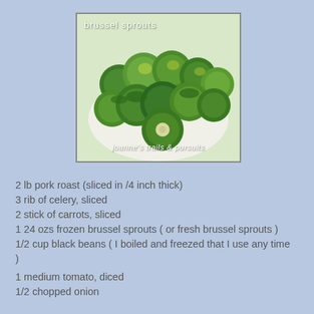[Figure (photo): Photo of fresh brussel sprouts piled on a white plate, with text overlay 'brussel sprouts' at the top and 'joanne's trails & pursuits' at the bottom]
2 lb pork roast (sliced in /4 inch thick)
3 rib of celery, sliced
2 stick of carrots, sliced
1 24 ozs frozen brussel sprouts ( or fresh brussel sprouts )
1/2 cup black beans ( I boiled and freezed that I use any time )
1 medium tomato, diced
1/2 chopped onion